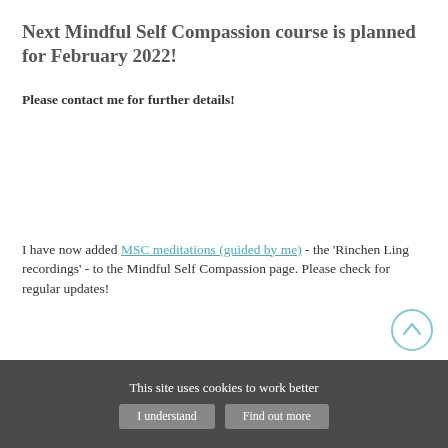Next Mindful Self Compassion course is planned for February 2022!
Please contact me for further details!
I have now added MSC meditations (guided by me) - the 'Rinchen Ling recordings' - to the Mindful Self Compassion page. Please check for regular updates!
This site uses cookies to work better | I understand | Find out more